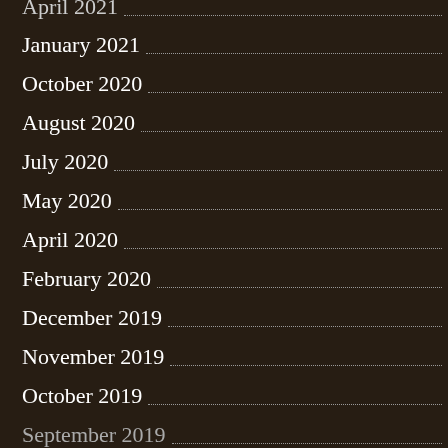April 2021
January 2021
October 2020
August 2020
July 2020
May 2020
April 2020
February 2020
December 2019
November 2019
October 2019
September 2019